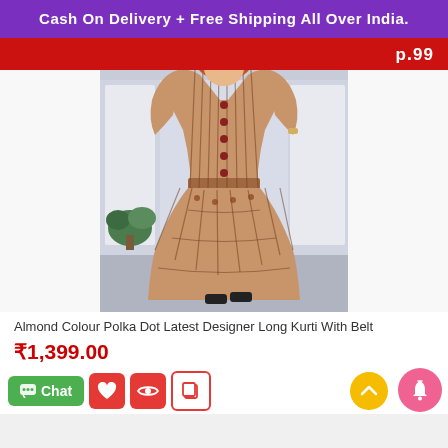Cash On Delivery + Free Shipping All Over India.
[Figure (photo): A woman wearing an almond/beige coloured polka dot striped long kurti with belt, standing indoors against a light background with windows and a potted plant.]
Almond Colour Polka Dot Latest Designer Long Kurti With Belt
₹1,399.00
Chat | heart icon | eye icon | copy icon | scroll-to-top button | notification bell